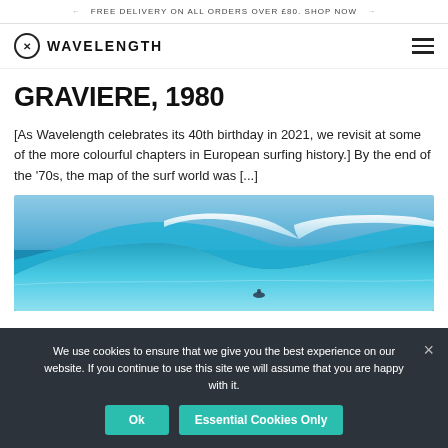FREE DELIVERY ON ALL ORDERS OVER £80. SHOP NOW
[Figure (logo): Wavelength surf magazine logo with circled X icon and wordmark WAVELENGTH]
GRAVIERE, 1980
[As Wavelength celebrates its 40th birthday in 2021, we revisit at some of the more colourful chapters in European surfing history.] By the end of the '70s, the map of the surf world was [...]
[Figure (photo): Large ocean wave photograph, turquoise water, surfer visible at bottom]
We use cookies to ensure that we give you the best experience on our website. If you continue to use this site we will assume that you are happy with it.